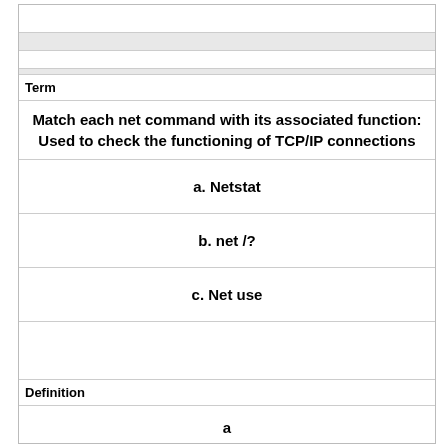| Term | Definition |
| --- | --- |
| Match each net command with its associated function: Used to check the functioning of TCP/IP connections | a |
| a. Netstat |  |
| b. net /? |  |
| c. Net use |  |